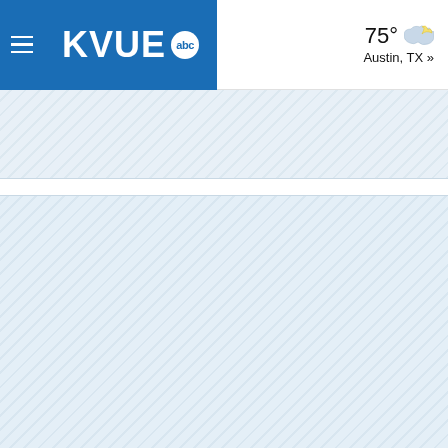KVUE abc — 75° Austin, TX »
[Figure (other): Advertisement banner placeholder with diagonal stripe pattern]
[Figure (other): Large advertisement banner placeholder with diagonal stripe pattern]